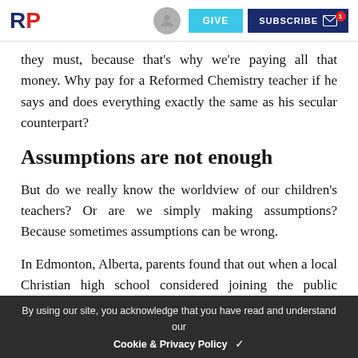RP | GIVE | SUBSCRIBE
they must, because that's why we're paying all that money. Why pay for a Reformed Chemistry teacher if he says and does everything exactly the same as his secular counterpart?
Assumptions are not enough
But do we really know the worldview of our children's teachers? Or are we simply making assumptions? Because sometimes assumptions can be wrong.
In Edmonton, Alberta, parents found that out when a local Christian high school considered joining the public system. Parents were paying thousands of dollars a year to send their children to the Edmonton Christian High School, but would only have to spend hundreds if it became public. That was a powerful enticement, but before they approved the merger parents wanted to know what else would change if the school went public. They
By using our site, you acknowledge that you have read and understand our Cookie & Privacy Policy ✓